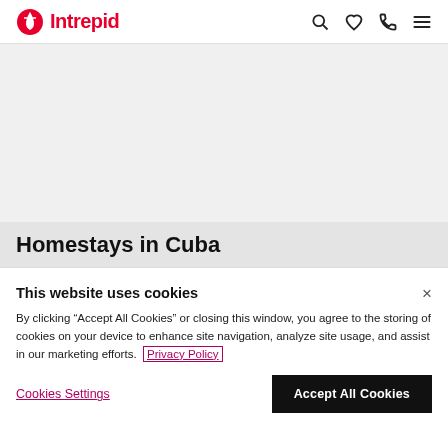Intrepid — navigation bar with logo, search, wishlist, phone, and menu icons
[Figure (screenshot): Hero image area (light grey placeholder)]
Homestays in Cuba
This website uses cookies
By clicking "Accept All Cookies" or closing this window, you agree to the storing of cookies on your device to enhance site navigation, analyze site usage, and assist in our marketing efforts. Privacy Policy
Cookies Settings | Accept All Cookies